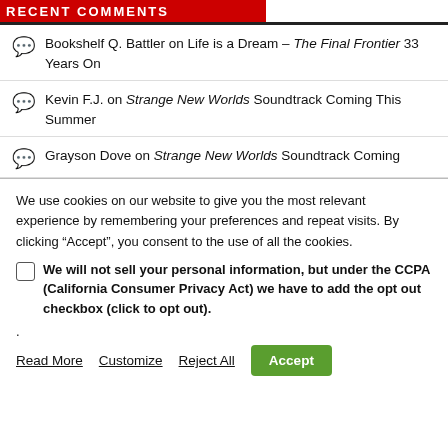RECENT COMMENTS
Bookshelf Q. Battler on Life is a Dream – The Final Frontier 33 Years On
Kevin F.J. on Strange New Worlds Soundtrack Coming This Summer
Grayson Dove on Strange New Worlds Soundtrack Coming
We use cookies on our website to give you the most relevant experience by remembering your preferences and repeat visits. By clicking “Accept”, you consent to the use of all the cookies.
We will not sell your personal information, but under the CCPA (California Consumer Privacy Act) we have to add the opt out checkbox (click to opt out).
.
Read More   Customize   Reject All   Accept